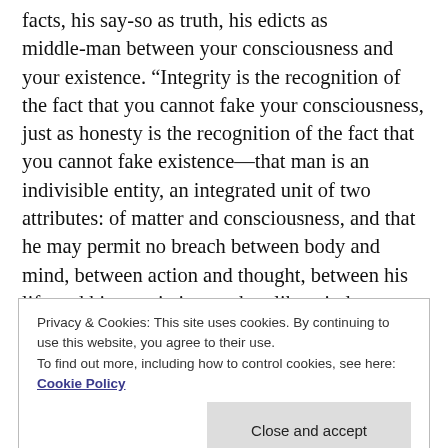facts, his say-so as truth, his edicts as middle-man between your consciousness and your existence. “Integrity is the recognition of the fact that you cannot fake your consciousness, just as honesty is the recognition of the fact that you cannot fake existence—that man is an indivisible entity, an integrated unit of two attributes: of matter and consciousness, and that he may permit no breach between body and mind, between action and thought, between his life and his convictions—that, like a judge impervious to public opinion, he may not sacrifice his convictions to the wishes of others, be
Privacy & Cookies: This site uses cookies. By continuing to use this website, you agree to their use.
To find out more, including how to control cookies, see here:
Cookie Policy
Close and accept
unreal is unreal and can have no value, that neither